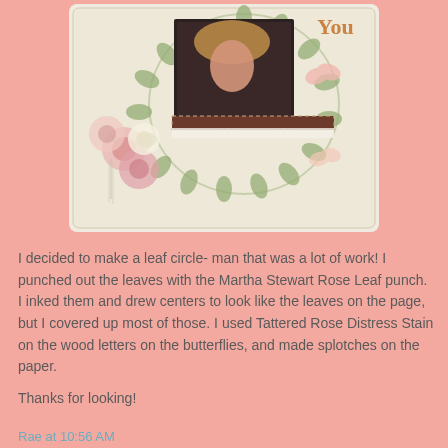[Figure (photo): A decorative scrapbook layout featuring a photo of a young girl with blonde hair, surrounded by pink and cream paper flowers, green leaf circle border, butterflies, and the word 'You' in wooden letters on a cream background with floral embellishments.]
I decided to make a leaf circle- man that was a lot of work! I punched out the leaves with the Martha Stewart Rose Leaf punch. I inked them and drew centers to look like the leaves on the page, but I covered up most of those. I used Tattered Rose Distress Stain on the wood letters on the butterflies, and made splotches on the paper.
Thanks for looking!
Rae at 10:56 AM